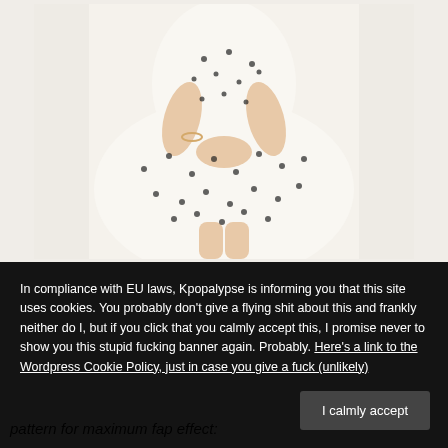[Figure (photo): A person wearing a white polka-dot flared dress, hands clasped in front, standing against a white/light background. Only the torso, arms, and upper legs are visible.]
In compliance with EU laws, Kpopalypse is informing you that this site uses cookies. You probably don't give a flying shit about this and frankly neither do I, but if you click that you calmly accept this, I promise never to show you this stupid fucking banner again. Probably. Here's a link to the Wordpress Cookie Policy, just in case you give a fuck (unlikely)
pattern for maximum fap effect: